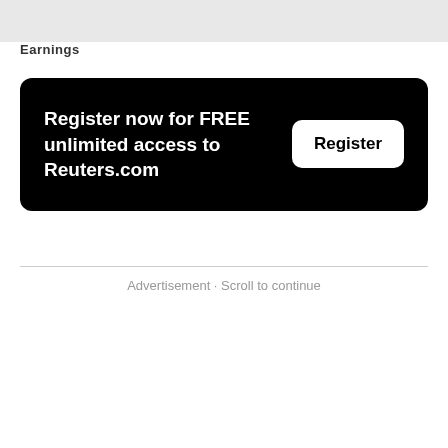Earnings
[Figure (other): Black rounded banner with white text 'Register now for FREE unlimited access to Reuters.com' and a white 'Register' button on the right]
Advertisement · Scroll to continue